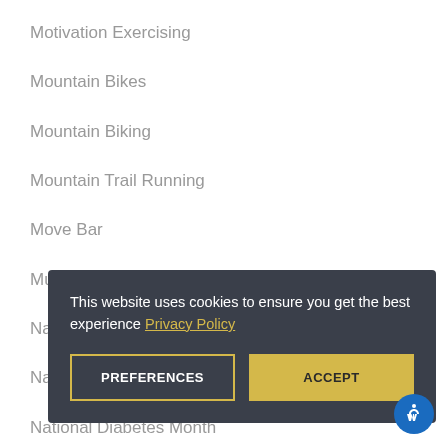Motivation Exercising
Mountain Bikes
Mountain Biking
Mountain Trail Running
Move Bar
Muscle Fitness
National Blood Pressure Awareness Month
National Depression Month
National Diabetes Month
national kale day
Neuropathy
ne...
Ne...
Ne...
ne...
Ne...
Ne...
ne...
newyears resolutions
This website uses cookies to ensure you get the best experience Privacy Policy
PREFERENCES  ACCEPT